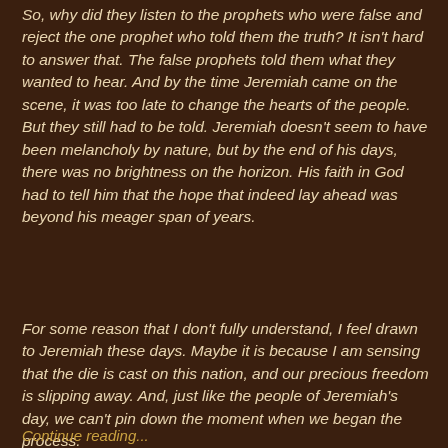So, why did they listen to the prophets who were false and reject the one prophet who told them the truth? It isn't hard to answer that. The false prophets told them what they wanted to hear. And by the time Jeremiah came on the scene, it was too late to change the hearts of the people. But they still had to be told. Jeremiah doesn't seem to have been melancholy by nature, but by the end of his days, there was no brightness on the horizon. His faith in God had to tell him that the hope that indeed lay ahead was beyond his meager span of years.
For some reason that I don't fully understand, I feel drawn to Jeremiah these days. Maybe it is because I am sensing that the die is cast on this nation, and our precious freedom is slipping away. And, just like the people of Jeremiah's day, we can't pin down the moment when we began the process.
Continue reading...